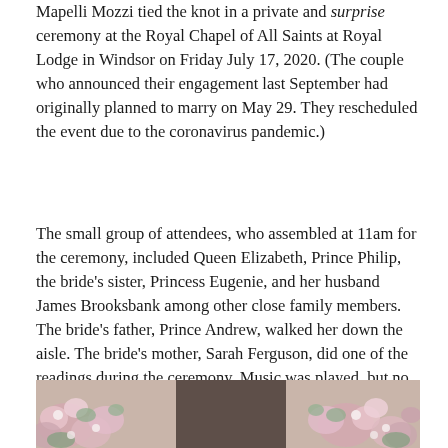Mapelli Mozzi tied the knot in a private and surprise ceremony at the Royal Chapel of All Saints at Royal Lodge in Windsor on Friday July 17, 2020. (The couple who announced their engagement last September had originally planned to marry on May 29. They rescheduled the event due to the coronavirus pandemic.)
The small group of attendees, who assembled at 11am for the ceremony, included Queen Elizabeth, Prince Philip, the bride's sister, Princess Eugenie, and her husband James Brooksbank among other close family members. The bride's father, Prince Andrew, walked her down the aisle. The bride's mother, Sarah Ferguson, did one of the readings during the ceremony. Music was played, but no hymns were sung in accordance with pandemic etiquette that dictates the virus can be spread while singing indoors.
[Figure (photo): Partial photo showing floral arrangement with pink and white flowers and greenery, likely from a wedding ceremony.]